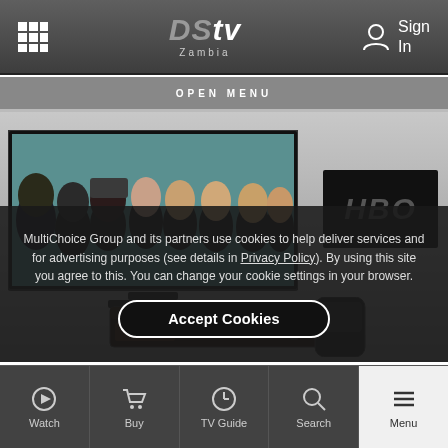DStv Zambia — navigation bar with grid icon and Sign In
OPEN MENU
[Figure (screenshot): Hero image showing a TV displaying a group of women (HBO show) and an HBO logo box in the background, with a DStv decoder unit underneath]
MultiChoice Group and its partners use cookies to help deliver services and for advertising purposes (see details in Privacy Policy). By using this site you agree to this. You can change your cookie settings in your browser.
Accept Cookies
Watch | Buy | TV Guide | Search | Menu